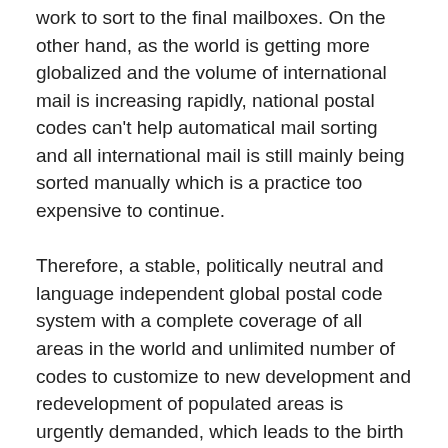work to sort to the final mailboxes. On the other hand, as the world is getting more globalized and the volume of international mail is increasing rapidly, national postal codes can't help automatical mail sorting and all international mail is still mainly being sorted manually which is a practice too expensive to continue.
Therefore, a stable, politically neutral and language independent global postal code system with a complete coverage of all areas in the world and unlimited number of codes to customize to new development and redevelopment of populated areas is urgently demanded, which leads to the birth of the Natural Area Coding System (the Global Postal Code System, the Universal Address System, the Universal Map Grids System and the Universal Property Identifier System). The new system unifies all the representations of geographic coordinates, area codes, addresses, postal codes, map grids and property identifiers in the world and makes all geographic products and services directly related and their